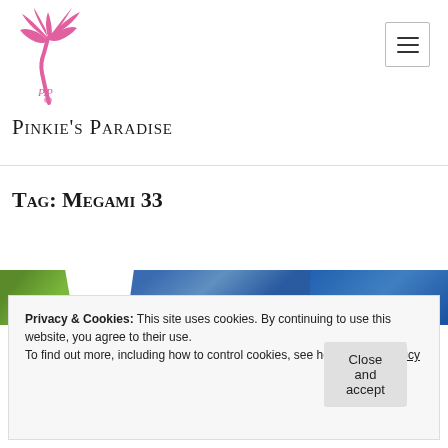[Figure (logo): Pink palm tree logo with stylized 'P.P.' initials at the base]
Pinkie's Paradise
Tag: Megami 33
[Figure (photo): Partial view of a product photo showing green and blue colors]
Privacy & Cookies: This site uses cookies. By continuing to use this website, you agree to their use.
To find out more, including how to control cookies, see here: Cookie Policy
Close and accept